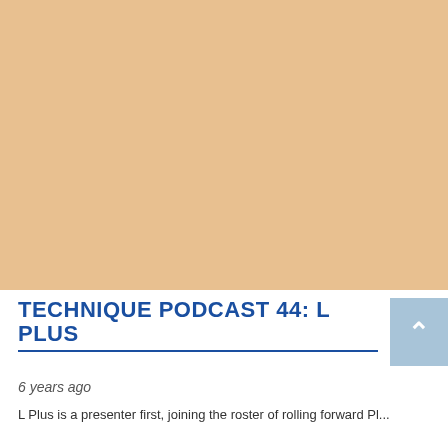[Figure (photo): A bald man in a black turtleneck jacket with arms crossed, posed against a dark background with teal/cyan light streaks crossing diagonally behind him. Professional DJ/artist press photo.]
TECHNIQUE PODCAST 44: L PLUS
6 years ago
L Plus is a presenter first, joining the roster of rolling forward Pl...